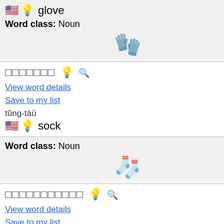🇺🇸 💡 glove
Word class: Noun
[Figure (illustration): Emoji of dark gray gloves 🧤]
□□□□□□□ 💡 🔍
View word details
Save to my list
tŭng-táū
🇺🇸 💡 sock
Word class: Noun
[Figure (illustration): Emoji of orange socks 🧦]
□□□□□□□□□□□ 💡 🔍
View word details
Save to my list
gaāng-gaēyng yeēn
🇺🇸 💡 jeans
Word class: Noun
[Figure (illustration): Emoji of blue jeans 👖]